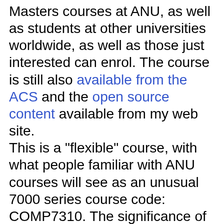Masters courses at ANU, as well as students at other universities worldwide, as well as those just interested can enrol. The course is still also available from the ACS and the open source content available from my web site. This is a "flexible" course, with what people familiar with ANU courses will see as an unusual 7000 series course code: COMP7310. The significance of this is that the course will provided mostly online, via the ANU's new "Wattle" system, with the Australian developed Moodle learning management system. There will be face to face workshops, but these are option. The assessment is by contributions to the 13